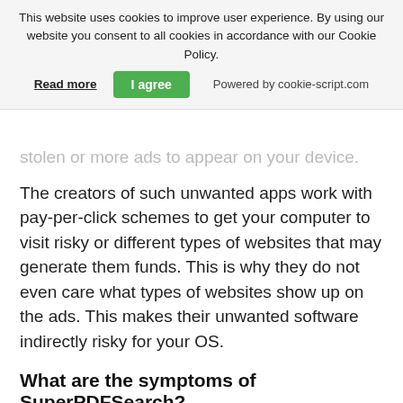[Figure (screenshot): Cookie consent banner with text: 'This website uses cookies to improve user experience. By using our website you consent to all cookies in accordance with our Cookie Policy.' with a 'Read more' link, 'I agree' green button, and 'Powered by cookie-script.com' text.]
stolen or more ads to appear on your device.
The creators of such unwanted apps work with pay-per-click schemes to get your computer to visit risky or different types of websites that may generate them funds. This is why they do not even care what types of websites show up on the ads. This makes their unwanted software indirectly risky for your OS.
What are the symptoms of SuperPDFSearch?
There are several symptoms to look for when this particular threat and also unwanted apps in general are active:
Symptom #1: Your computer may become a slow...